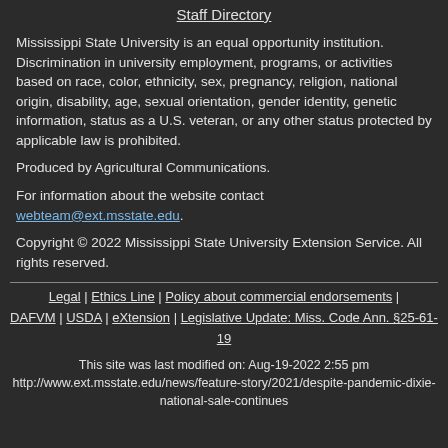Staff Directory
Mississippi State University is an equal opportunity institution. Discrimination in university employment, programs, or activities based on race, color, ethnicity, sex, pregnancy, religion, national origin, disability, age, sexual orientation, gender identity, genetic information, status as a U.S. veteran, or any other status protected by applicable law is prohibited.
Produced by Agricultural Communications.
For information about the website contact webteam@ext.msstate.edu.
Copyright © 2022 Mississippi State University Extension Service. All rights reserved.
Legal | Ethics Line | Policy about commercial endorsements | DAFVM | USDA | eXtension | Legislative Update: Miss. Code Ann. §25-61-19
This site was last modified on: Aug-19-2022 2:55 pm
http://www.ext.msstate.edu/news/feature-story/2021/despite-pandemic-dixie-national-sale-continues